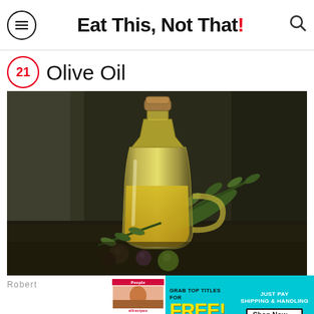Eat This, Not That!
21 Olive Oil
[Figure (photo): A glass bottle/carafe of olive oil with a cork stopper, surrounded by green and dark olives and olive branches, on a dark stone surface with dramatic lighting.]
Robert
[Figure (infographic): Advertisement banner: 'GRAB TOP TITLES FOR FREE! (UP TO $100) JUST PAY SHIPPING & HANDLING Shop Now →' with People and allrecipes magazine covers shown on the left.]